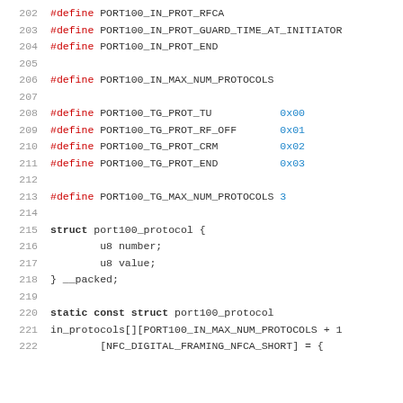[Figure (screenshot): Source code listing showing C preprocessor #define macros for PORT100 protocol constants and a struct definition for port100_protocol, lines 202-222]